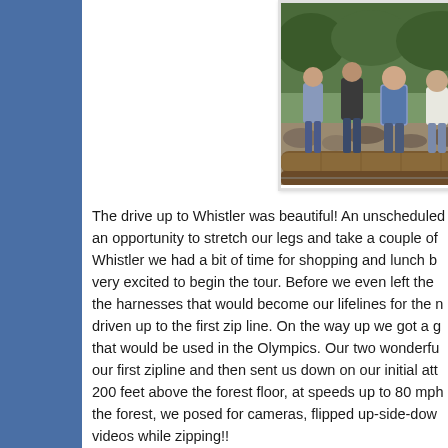[Figure (photo): Group of people (5 visible) standing on a large fallen log in a forested area with a rocky stream bed behind them. People are casually dressed. Photo is partially cropped on the right side.]
The drive up to Whistler was beautiful! An unscheduled an opportunity to stretch our legs and take a couple of Whistler we had a bit of time for shopping and lunch b very excited to begin the tour. Before we even left the the harnesses that would become our lifelines for the driven up to the first zip line. On the way up we got a g that would be used in the Olympics. Our two wonderfu our first zipline and then sent us down on our initial att 200 feet above the forest floor, at speeds up to 80 mph the forest, we posed for cameras, flipped up-side-dow videos while zipping!!